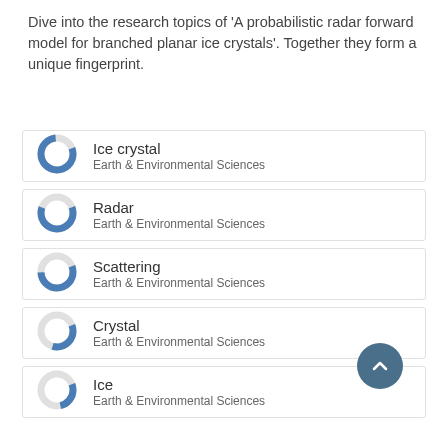Dive into the research topics of 'A probabilistic radar forward model for branched planar ice crystals'. Together they form a unique fingerprint.
Ice crystal
Earth & Environmental Sciences
Radar
Earth & Environmental Sciences
Scattering
Earth & Environmental Sciences
Crystal
Earth & Environmental Sciences
Ice
Earth & Environmental Sciences